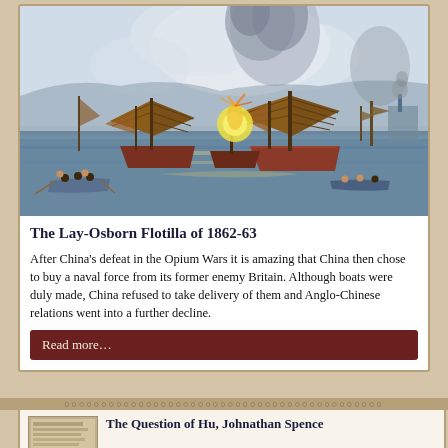[Figure (illustration): Historical painting depicting a naval battle scene with Chinese junks with brown sails on the water, smoke and fire from explosions, small rowboats with figures in foreground, and sailing ships in the background.]
The Lay-Osborn Flotilla of 1862-63
After China's defeat in the Opium Wars it is amazing that China then chose to buy a naval force from its former enemy Britain. Although boats were duly made, China refused to take delivery of them and Anglo-Chinese relations went into a further decline.
Read more…
The Question of Hu, Johnathan Spence